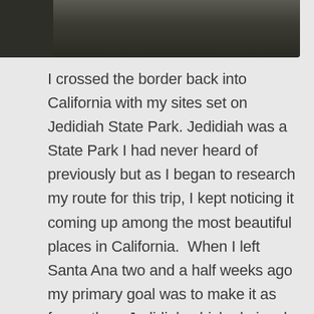[Figure (photo): Partial top photo showing dark silhouettes of trees or figures against a muted outdoor background, cropped at top of page]
I crossed the border back into California with my sites set on Jedidiah State Park. Jedidiah was a State Park I had never heard of previously but as I began to research my route for this trip, I kept noticing it coming up among the most beautiful places in California.  When I left Santa Ana two and a half weeks ago my primary goal was to make it as far north as Jedidiah which obviously evolved into Oregon but Jedidiah was high on the list and it didn't disappoint.  The campgrounds were crowded but I was able to secure a site settled amidst a grove of redwoods.  I parked my truck right in the middle